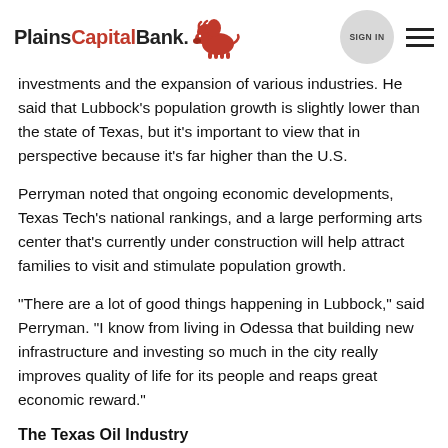PlainsCapitalBank [logo with bison] | SIGN IN | menu
investments and the expansion of various industries. He said that Lubbock's population growth is slightly lower than the state of Texas, but it's important to view that in perspective because it's far higher than the U.S.
Perryman noted that ongoing economic developments, Texas Tech's national rankings, and a large performing arts center that's currently under construction will help attract families to visit and stimulate population growth.
“There are a lot of good things happening in Lubbock,” said Perryman. “I know from living in Odessa that building new infrastructure and investing so much in the city really improves quality of life for its people and reaps great economic reward.”
The Texas Oil Industry